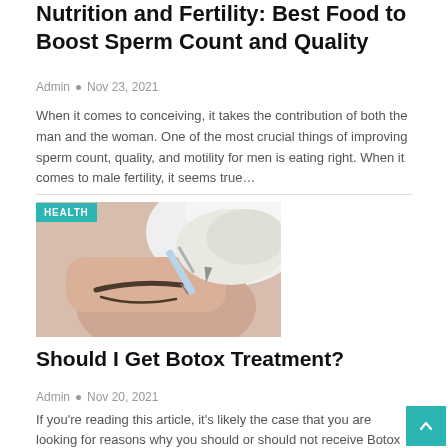Nutrition and Fertility: Best Food to Boost Sperm Count and Quality
Admin • Nov 23, 2021
When it comes to conceiving, it takes the contribution of both the man and the woman. One of the most crucial things of improving sperm count, quality, and motility for men is eating right. When it comes to male fertility, it seems true…
[Figure (photo): A person receiving a facial injection (Botox treatment), with gloved hands holding a syringe near the forehead. A HEALTH badge overlay is in the top-left corner.]
Should I Get Botox Treatment?
Admin • Nov 20, 2021
If you're reading this article, it's likely the case that you are looking for reasons why you should or should not receive Botox injections. You've probably gotten some feedback from